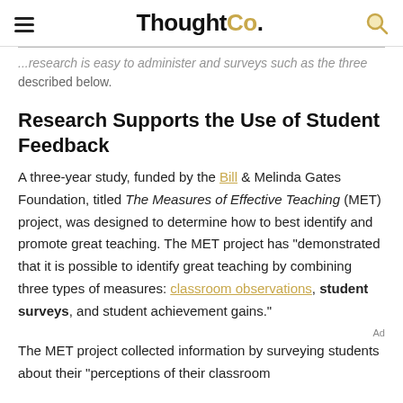ThoughtCo.
...research is easy to administer and surveys such as the three described below.
Research Supports the Use of Student Feedback
A three-year study, funded by the Bill & Melinda Gates Foundation, titled The Measures of Effective Teaching (MET) project, was designed to determine how to best identify and promote great teaching. The MET project has "demonstrated that it is possible to identify great teaching by combining three types of measures: classroom observations, student surveys, and student achievement gains."
The MET project collected information by surveying students about their "perceptions of their classroom